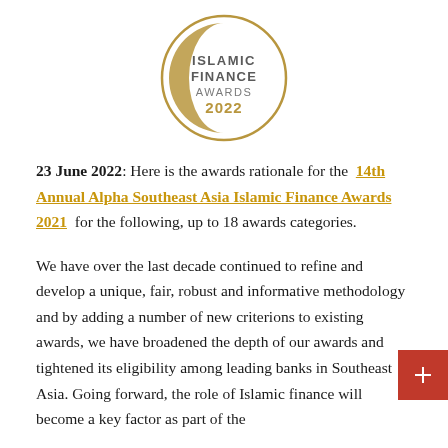[Figure (logo): Islamic Finance Awards 2022 circular logo with gold crescent and grey/gold text]
23 June 2022: Here is the awards rationale for the 14th Annual Alpha Southeast Asia Islamic Finance Awards 2021 for the following, up to 18 awards categories.
We have over the last decade continued to refine and develop a unique, fair, robust and informative methodology and by adding a number of new criterions to existing awards, we have broadened the depth of our awards and tightened its eligibility among leading banks in Southeast Asia. Going forward, the role of Islamic finance will become a key factor as part of the